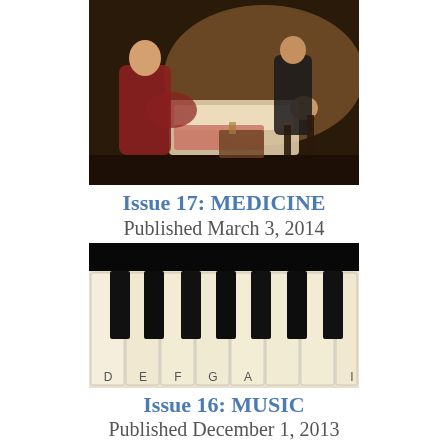[Figure (illustration): Classic painting of a doctor attending to a sick patient lying in bed, with another figure seated nearby in a dimly lit room]
Issue 17: MEDICINE
Published March 3, 2014
[Figure (photo): Close-up photograph of piano keys labeled D, E, F, G, A from a low angle, showing black and white keys]
Issue 16: MUSIC
Published December 1, 2013
[Figure (photo): Partial image at bottom of page, appears to show headphones or circular objects]